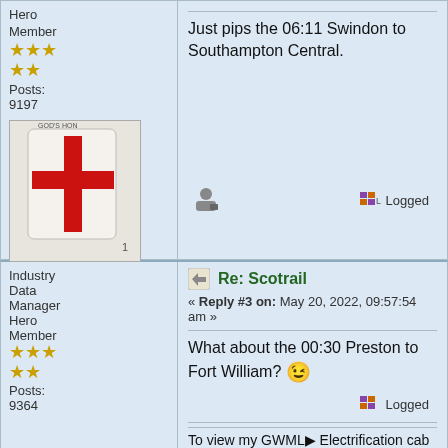Hero Member
Posts: 9197
[Figure (photo): Avatar image showing a shield/coat of arms with a red cross on white background, partially visible, with text 'GOD'S HON' at top]
Just pips the 06:11 Swindon to Southampton Central.
Logged
Industry Data Manager Hero Member
Re: Scotrail
« Reply #3 on: May 20, 2022, 09:57:54 am »
Posts: 9364
What about the 00:30 Preston to Fort William? 😉
Logged
To view my GWML▶ Electrification cab video 'before